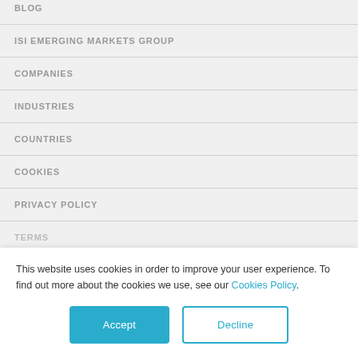BLOG
ISI EMERGING MARKETS GROUP
COMPANIES
INDUSTRIES
COUNTRIES
COOKIES
PRIVACY POLICY
TERMS
This website uses cookies in order to improve your user experience. To find out more about the cookies we use, see our Cookies Policy.
Accept  Decline